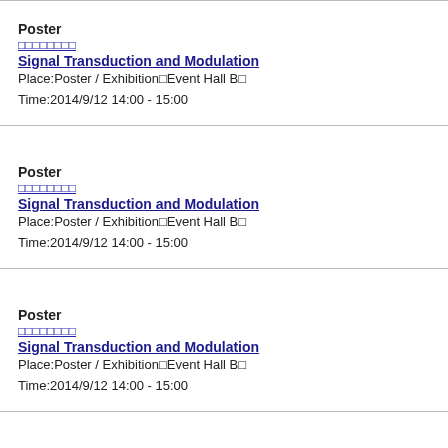Poster
□□□□□□□□
Signal Transduction and Modulation
Place:Poster / Exhibition□Event Hall B□
Time:2014/9/12 14:00 - 15:00
Poster
□□□□□□□□
Signal Transduction and Modulation
Place:Poster / Exhibition□Event Hall B□
Time:2014/9/12 14:00 - 15:00
Poster
□□□□□□□□
Signal Transduction and Modulation
Place:Poster / Exhibition□Event Hall B□
Time:2014/9/12 14:00 - 15:00